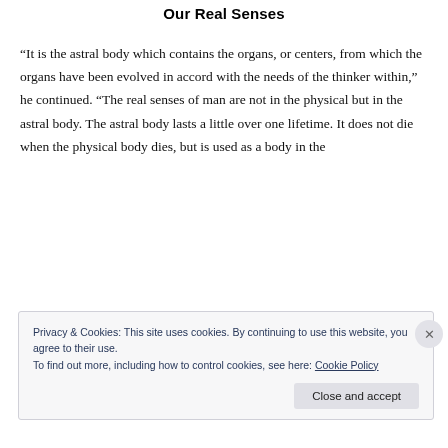Our Real Senses
“It is the astral body which contains the organs, or centers, from which the organs have been evolved in accord with the needs of the thinker within,” he continued. “The real senses of man are not in the physical but in the astral body. The astral body lasts a little over one lifetime. It does not die when the physical body dies, but is used as a body in the
Privacy & Cookies: This site uses cookies. By continuing to use this website, you agree to their use.
To find out more, including how to control cookies, see here: Cookie Policy